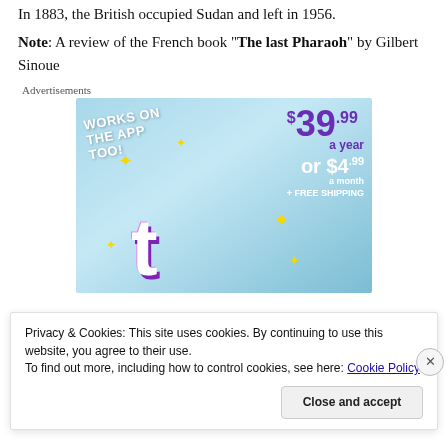In 1883, the British occupied Sudan and left in 1956.
Note: A review of the French book "The last Pharaoh" by Gilbert Sinoue
[Figure (other): Advertisement banner for a subscription service. Shows 'WORKS ON THE APP TOO!' text, a stylized letter T logo with pink/purple gradient and sparkle stars, pricing of $39.99 a year or $4.99 a month plus free shipping on a light blue cloudy background.]
Privacy & Cookies: This site uses cookies. By continuing to use this website, you agree to their use.
To find out more, including how to control cookies, see here: Cookie Policy